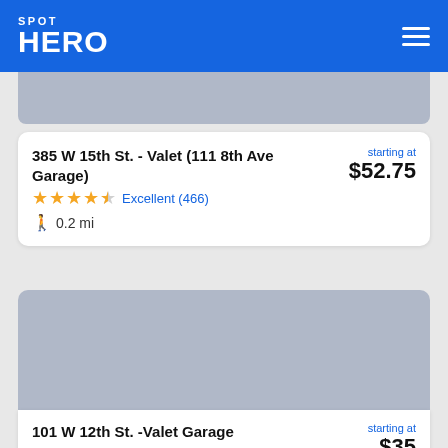SPOT HERO
[Figure (screenshot): Placeholder image for 385 W 15th St. listing]
385 W 15th St. - Valet (111 8th Ave Garage) — starting at $52.75 — Excellent (466) — 0.2 mi
[Figure (screenshot): Placeholder image for 101 W 12th St. listing]
101 W 12th St. -Valet Garage — starting at $35